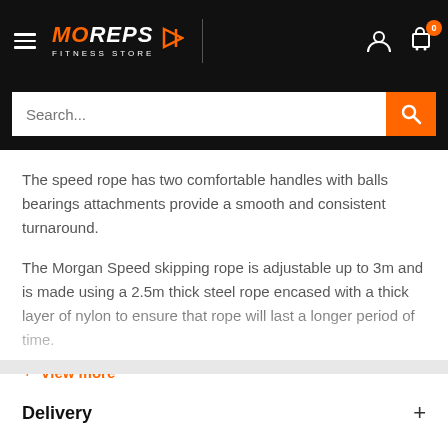MO REPS FITNESS STORE
The speed rope has two comfortable handles with balls bearings attachments provide a smooth and consistent turnaround.
The Morgan Speed skipping rope is adjustable up to 3m and is made using a 2.5m thick steel rope encased with a thick layer of nylon to ensure that rope will last a longer period of time.
+ View more
Delivery